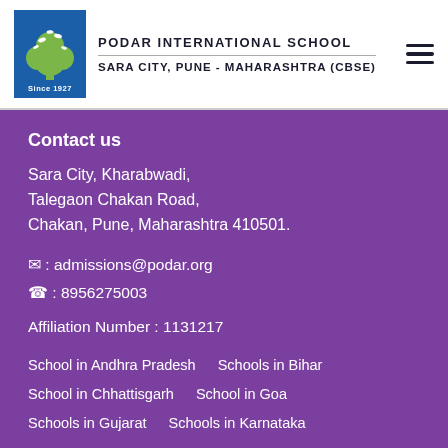PODAR INTERNATIONAL SCHOOL
SARA CITY, PUNE - MAHARASHTRA (CBSE)
Contact us
Sara City, Kharabwadi, Talegaon Chakan Road, Chakan, Pune, Maharashtra 410501.
✉ : admissions@podar.org
☎ : 8956275003
Affiliation Number : 1131217
School in Andhra Pradesh
Schools in Bihar
School in Chhattisgarh
School in Goa
Schools in Gujarat
Schools in Karnataka